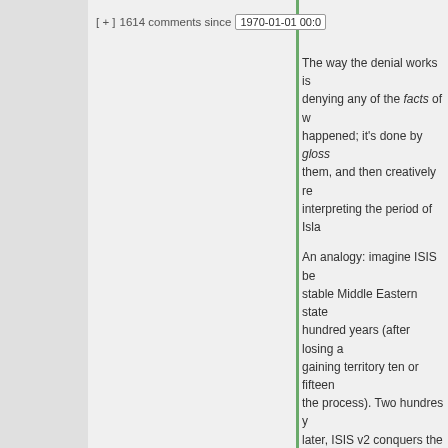racists, nor those merely familiar the wo... [ + ] 1614 comments since 1970-01-01 00:0
The way the denial works is not by denying any of the facts of what happened; it's done by glossing over them, and then creatively re-interpreting the period of Isla...
An analogy: imagine ISIS be-coming a stable Middle Eastern state for a few hundred years (after losing a lot and gaining territory ten or fifteen times in the process). Two hundres years later, ISIS v2 conquers the same area again. As does ISIS v3 a few hundred years later.
700 years later, history book...